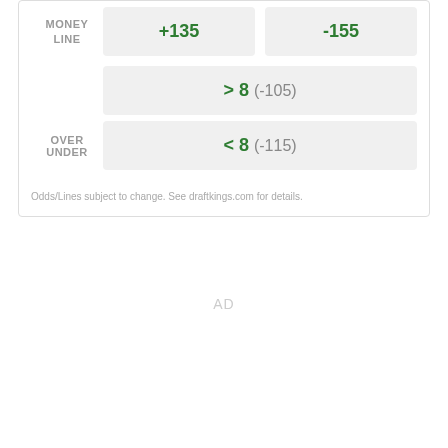|  | Team 1 | Team 2 |
| --- | --- | --- |
| MONEY LINE | +135 | -155 |
| OVER UNDER | > 8  (-105) | < 8  (-115) |
Odds/Lines subject to change. See draftkings.com for details.
AD